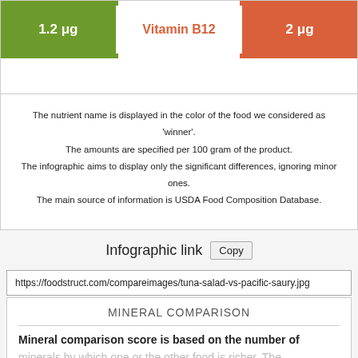[Figure (infographic): Nutrition comparison row for Vitamin B12: green cell on left showing 1.2 μg, center white cell showing 'Vitamin B12' in orange, orange cell on right showing 2 μg]
The nutrient name is displayed in the color of the food we considered as 'winner'. The amounts are specified per 100 gram of the product. The infographic aims to display only the significant differences, ignoring minor ones. The main source of information is USDA Food Composition Database.
Infographic link Copy
https://foodstruct.com/compareimages/tuna-salad-vs-pacific-saury.jpg
MINERAL COMPARISON
Mineral comparison score is based on the number of minerals by which one or the other food is richer. The "coverage" chart below show how much of the daily